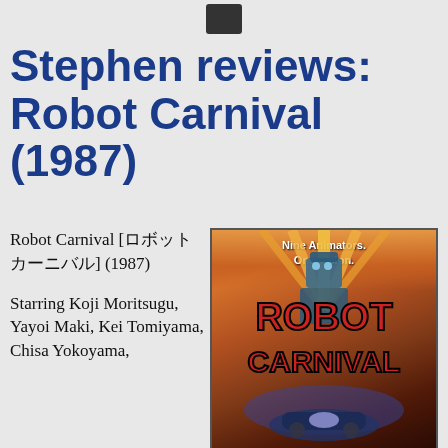Stephen reviews: Robot Carnival (1987)
Robot Carnival [ロボットカーニバル] (1987)
Starring Koji Moritsugu, Yayoi Maki, Kei Tomiyama, Chisa Yokoyama,
[Figure (illustration): Movie poster for Robot Carnival (1987) showing large red stylized text 'ROBOT CARNIVAL' over a dramatic illustrated scene with text 'Nine Animators. One Vision.' at top]